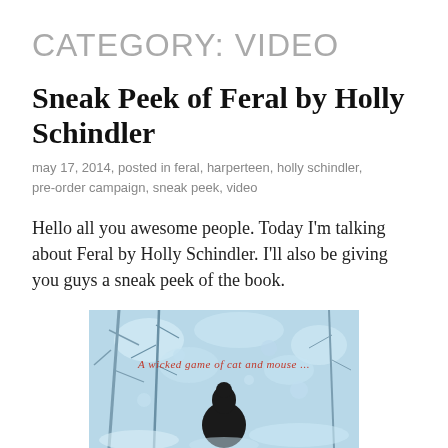CATEGORY: VIDEO
Sneak Peek of Feral by Holly Schindler
may 17, 2014, posted in feral, harperteen, holly schindler, pre-order campaign, sneak peek, video
Hello all you awesome people. Today I'm talking about Feral by Holly Schindler. I'll also be giving you guys a sneak peek of the book.
[Figure (screenshot): Video thumbnail showing a wintry blue-tinted forest scene with a dark silhouette and text overlay reading 'A wicked game of cat and mouse...']